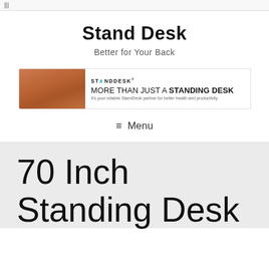|||
Stand Desk
Better for Your Back
[Figure (infographic): Stand Desk advertisement banner showing logo, wooden desk surface, and text: MORE THAN JUST A STANDING DESK - It's your reliable StandDesk partner for better health and productivity]
≡ Menu
70 Inch Standing Desk